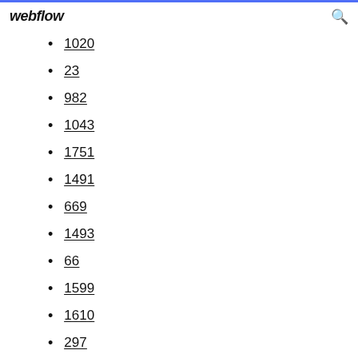webflow
1020
23
982
1043
1751
1491
669
1493
66
1599
1610
297
1